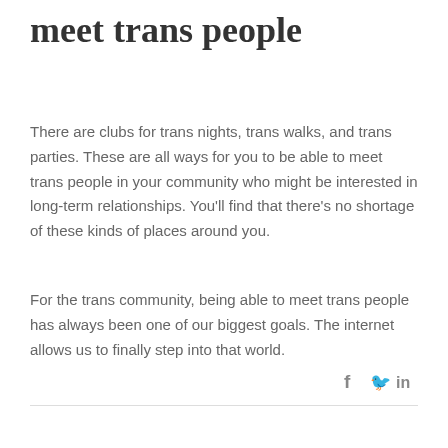meet trans people
There are clubs for trans nights, trans walks, and trans parties. These are all ways for you to be able to meet trans people in your community who might be interested in long-term relationships. You’ll find that there’s no shortage of these kinds of places around you.
For the trans community, being able to meet trans people has always been one of our biggest goals. The internet allows us to finally step into that world.
[Figure (infographic): Social media share icons: Facebook (f), Twitter (bird), LinkedIn (in)]